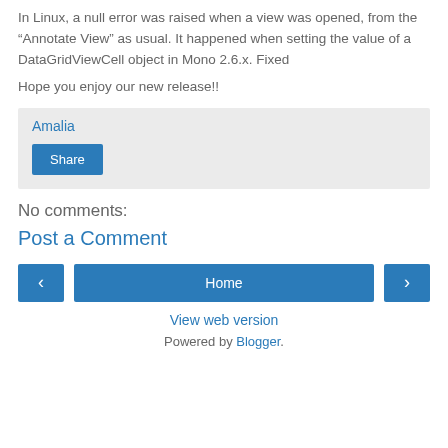In Linux, a null error was raised when a view was opened, from the “Annotate View” as usual. It happened when setting the value of a DataGridViewCell object in Mono 2.6.x. Fixed
Hope you enjoy our new release!!
Amalia
Share
No comments:
Post a Comment
‹
Home
›
View web version
Powered by Blogger.